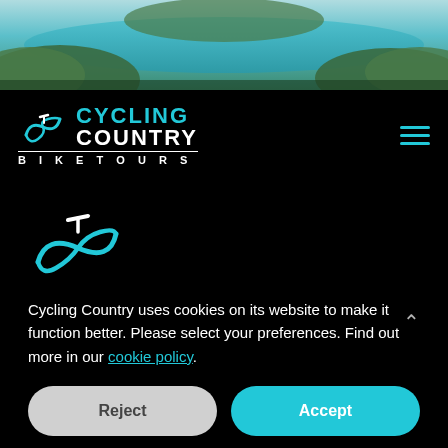[Figure (photo): Aerial landscape photo showing a lake or bay with green hills and water in teal/turquoise tones]
[Figure (logo): Cycling Country Bike Tours logo with infinity/bicycle symbol in teal and white text]
[Figure (logo): Cycling Country small logo mark (infinity/bicycle symbol) in teal on black background]
Cycling Country uses cookies on its website to make it function better. Please select your preferences. Find out more in our cookie policy.
Reject
Accept
Settings